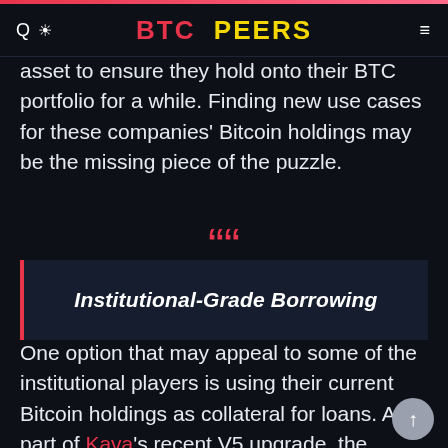BTC PEERS
asset to ensure they hold onto their BTC portfolio for a while. Finding new use cases for these companies' Bitcoin holdings may be the missing piece of the puzzle.
Institutional-Grade Borrowing
One option that may appeal to some of the institutional players is using their current Bitcoin holdings as collateral for loans. As part of Kava's recent V5 upgrade, the HARD Protocol received an update to Version 2. This upgrade provides borrowing with